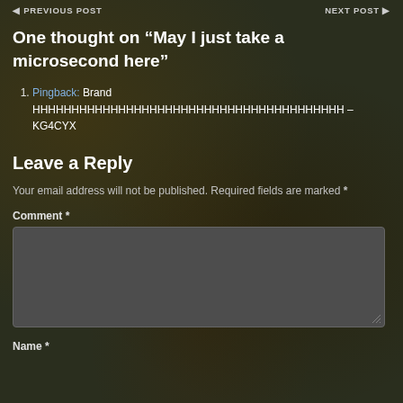◀ PREVIOUS POST    NEXT POST ▶
One thought on “May I just take a microsecond here”
Pingback: Brand HHHHHHHHHHHHHHHHHHHHHHHHHHHHHHHHHHHHHHHH – KG4CYX
Leave a Reply
Your email address will not be published. Required fields are marked *
Comment *
Name *